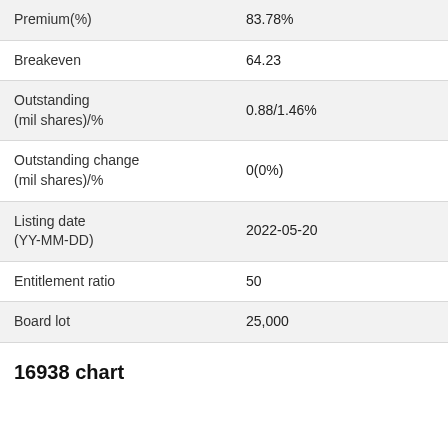| Premium(%) | 83.78% |
| Breakeven | 64.23 |
| Outstanding
(mil shares)/% | 0.88/1.46% |
| Outstanding change
(mil shares)/% | 0(0%) |
| Listing date
(YY-MM-DD) | 2022-05-20 |
| Entitlement ratio | 50 |
| Board lot | 25,000 |
16938 chart